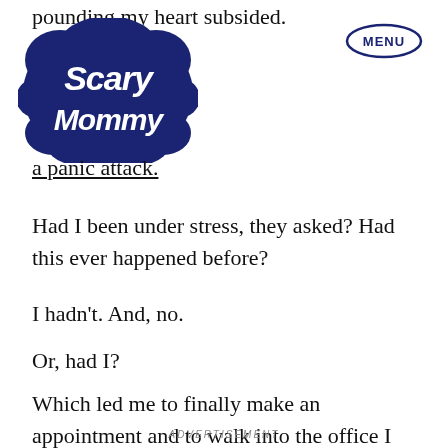pounding my heart subsided.
[Figure (logo): Scary Mommy logo in dark navy blue with stylized cursive text inside a cloud shape]
[Figure (other): MENU button in dark navy oval outline]
a panic attack.
Had I been under stress, they asked? Had this ever happened before?
I hadn't. And, no.
Or, had I?
Which led me to finally make an appointment and to walk into the office I had been avoiding.
ADVERTISEMENT